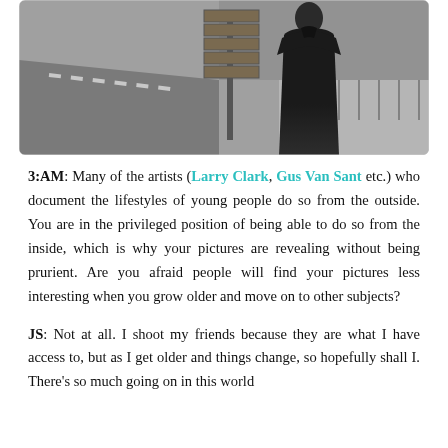[Figure (photo): Black and white photograph of a person in a dark coat viewed from behind, standing in front of a bulletin board or sign on a city street with a road and railing in the background.]
3:AM: Many of the artists (Larry Clark, Gus Van Sant etc.) who document the lifestyles of young people do so from the outside. You are in the privileged position of being able to do so from the inside, which is why your pictures are revealing without being prurient. Are you afraid people will find your pictures less interesting when you grow older and move on to other subjects?
JS: Not at all. I shoot my friends because they are what I have access to, but as I get older and things change, so hopefully shall I. There's so much going on in this world